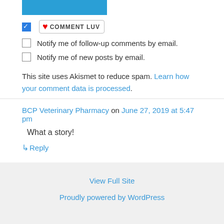[Figure (other): Blue submit button bar at top]
[Figure (logo): CommentLuv badge with heart icon and COMMENT LUV text, with checked blue checkbox to its left]
Notify me of follow-up comments by email.
Notify me of new posts by email.
This site uses Akismet to reduce spam. Learn how your comment data is processed.
BCP Veterinary Pharmacy on June 27, 2019 at 5:47 pm
What a story!
↳ Reply
View Full Site
Proudly powered by WordPress